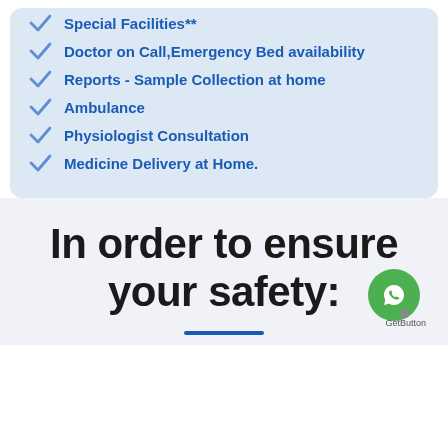Special Facilities**
Doctor on Call,Emergency Bed availability
Reports - Sample Collection at home
Ambulance
Physiologist Consultation
Medicine Delivery at Home.
In order to ensure your safety:
[Figure (illustration): WhatsApp contact button (GetButton widget) with green circle and phone icon]